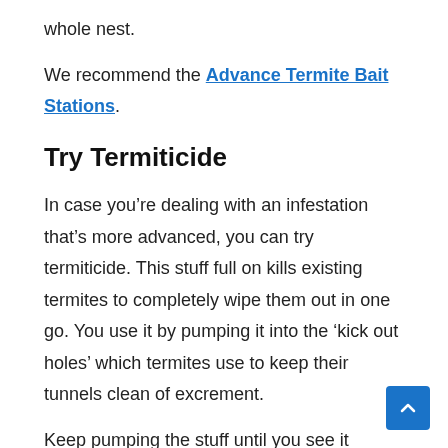whole nest.
We recommend the Advance Termite Bait Stations.
Try Termiticide
In case you’re dealing with an infestation that’s more advanced, you can try termiticide. This stuff full on kills existing termites to completely wipe them out in one go. You use it by pumping it into the ‘kick out holes’ which termites use to keep their tunnels clean of excrement.
Keep pumping the stuff until you see it pushing out of other entry and exit holes that are part of the maze. Leave the stuff in to take full effect and kill off any other termites might be in deeper parts of the nest.